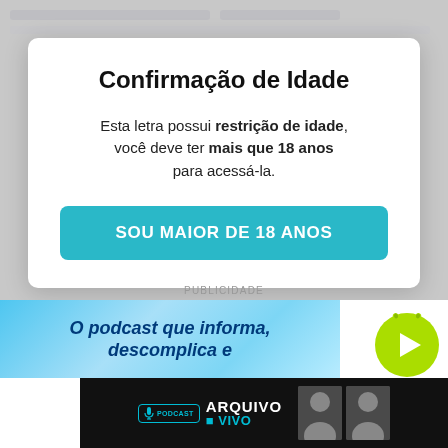Confirmação de Idade
Esta letra possui restrição de idade, você deve ter mais que 18 anos para acessá-la.
SOU MAIOR DE 18 ANOS
PUBLICIDADE
O podcast que informa, descomplica e
[Figure (logo): Arquivo Vivo podcast banner with two male presenters and logo]
[Figure (illustration): Green play button circle icon for podcast]